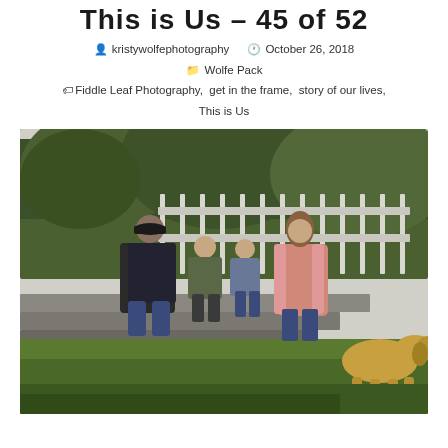This is Us – 45 of 52
kristywolfephotography   October 26, 2018
Wolfe Pack
Fiddle Leaf Photography, get in the frame, story of our lives, This is Us
[Figure (photo): A family of four — a father in a dark hoodie and baseball cap, a mother in a pink cardigan, and two young boys — sitting on a stone retaining wall in a suburban backyard. A golden dog is in the right foreground. Trees and a white fence visible in the background.]